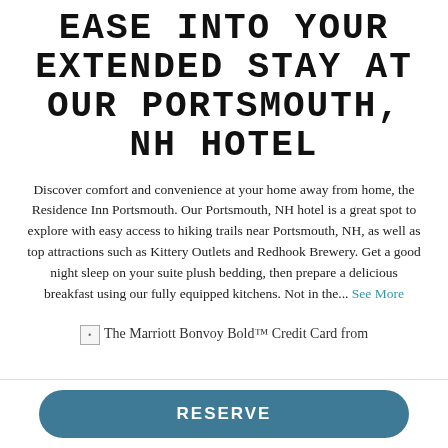Ease into your extended stay at our Portsmouth, NH hotel
Discover comfort and convenience at your home away from home, the Residence Inn Portsmouth. Our Portsmouth, NH hotel is a great spot to explore with easy access to hiking trails near Portsmouth, NH, as well as top attractions such as Kittery Outlets and Redhook Brewery. Get a good night sleep on your suite plush bedding, then prepare a delicious breakfast using our fully equipped kitchens. Not in the... See More
[Figure (other): The Marriott Bonvoy Bold™ Credit Card from (image placeholder with text)]
RESERVE